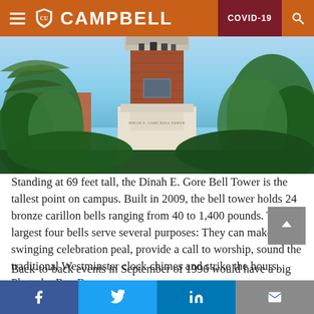CAMPBELL — COVID-19
[Figure (photo): Bell tower (Dinah E. Gore Bell Tower) at Campbell University, photographed from below among trees against a blue sky.]
Standing at 69 feet tall, the Dinah E. Gore Bell Tower is the tallest point on campus. Built in 2009, the bell tower holds 24 bronze carillon bells ranging from 40 to 1,400 pounds. The largest four bells serve several purposes: They can make up a swinging celebration peal, provide a call to worship, sound the traditional Westminster clock chimes and strike the hours. Photo by Ben Brown
Back-to-back events in September of 1996 would have a big impact on Campbell University and Harnett for years
Facebook  Twitter  LinkedIn  Email